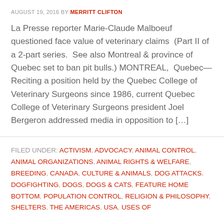AUGUST 19, 2016 BY MERRITT CLIFTON
La Presse reporter Marie-Claude Malboeuf questioned face value of veterinary claims  (Part II of a 2-part series.  See also Montreal & province of Quebec set to ban pit bulls.) MONTREAL,  Quebec—Reciting a position held by the Quebec College of Veterinary Surgeons since 1986, current Quebec College of Veterinary Surgeons president Joel Bergeron addressed media in opposition to […]
FILED UNDER: ACTIVISM, ADVOCACY, ANIMAL CONTROL, ANIMAL ORGANIZATIONS, ANIMAL RIGHTS & WELFARE, BREEDING, CANADA, CULTURE & ANIMALS, DOG ATTACKS, DOGFIGHTING, DOGS, DOGS & CATS, FEATURE HOME BOTTOM, POPULATION CONTROL, RELIGION & PHILOSOPHY, SHELTERS, THE AMERICAS, USA, USES OF